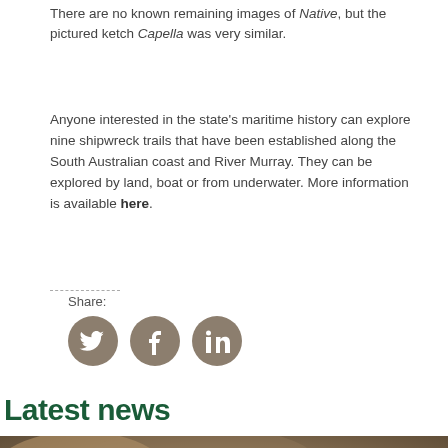There are no known remaining images of Native, but the pictured ketch Capella was very similar.
Anyone interested in the state's maritime history can explore nine shipwreck trails that have been established along the South Australian coast and River Murray. They can be explored by land, boat or from underwater. More information is available here.
Share:
[Figure (infographic): Three social media share icons: Twitter (bird), Facebook (f), LinkedIn (in), displayed as dark tan/brown circular buttons]
Latest news
[Figure (photo): A magpie bird standing upright against a blurred brown and green background, photographed from below looking up, showing its black and white plumage]